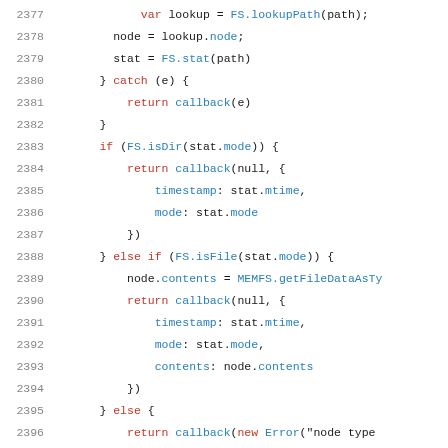[Figure (screenshot): Source code listing showing JavaScript lines 2377-2399, displaying file system operations with syntax highlighting. Keywords in red, identifiers/methods in blue, plain code in dark/black.]